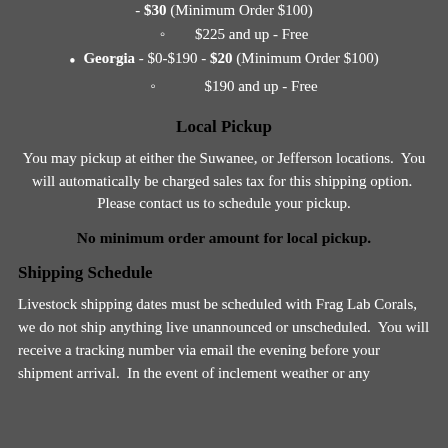- $30 (Minimum Order $100)
$225 and up - Free
Georgia - $0-$190 - $20 (Minimum Order $100)
$190 and up - Free
Local Pickup
You may pickup at either the Suwanee, or Jefferson locations.  You will automatically be charged sales tax for this shipping option.  Please contact us to schedule your pickup.
No minimum order amount for local pickup.
Shipping Schedule
Livestock shipping dates must be scheduled with Frag Lab Corals, we do not ship anything live unannounced or unscheduled.  You will receive a tracking number via email the evening before your shipment arrival.  In the event of inclement weather or any